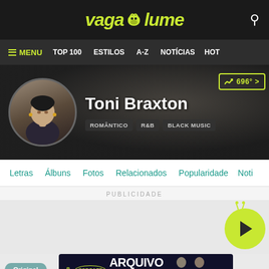vagalume
≡ MENU  TOP 100  ESTILOS  A-Z  NOTÍCIAS  HOT
[Figure (photo): Toni Braxton artist profile banner with circular headshot photo, name, genre tags ROMÂNTICO R&B BLACK MUSIC, and trending badge 696°]
Letras  Álbuns  Fotos  Relacionados  Popularidade  Noti
PUBLICIDADE
[Figure (other): Advertisement area with vagalume play button logo (green circle with play triangle and antennae)]
Original
[Figure (other): Podcast advertisement banner: ARQUIVO VIVO podcast with two men in suits]